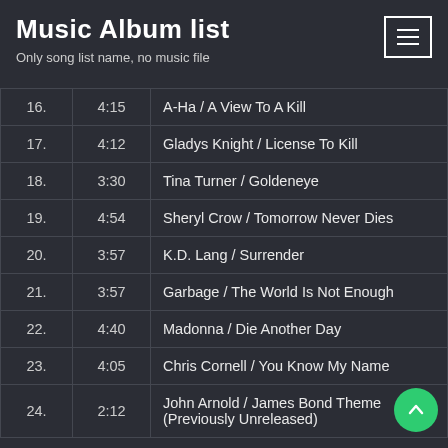Music Album list
Only song list name, no music file
| # | Time | Song |
| --- | --- | --- |
| 16. | 4:15 | A-Ha / A View To A Kill |
| 17. | 4:12 | Gladys Knight / License To Kill |
| 18. | 3:30 | Tina Turner / Goldeneye |
| 19. | 4:54 | Sheryl Crow / Tomorrow Never Dies |
| 20. | 3:57 | K.D. Lang / Surrender |
| 21. | 3:57 | Garbage / The World Is Not Enough |
| 22. | 4:40 | Madonna / Die Another Day |
| 23. | 4:05 | Chris Cornell / You Know My Name |
| 24. | 2:12 | John Arnold / James Bond Theme (Previously Unreleased) |